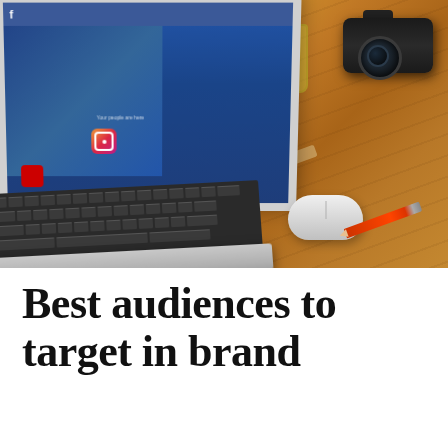[Figure (photo): Overhead photo of a desk scene showing a MacBook Air laptop with a Facebook Ads page on screen, a yellow glass filled with pencils, an Apple Magic Mouse, an orange/red pencil, and a DSLR camera on a wooden desk surface.]
Best audiences to target in brand